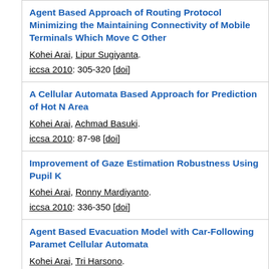Agent Based Approach of Routing Protocol Minimizing the Maintaining Connectivity of Mobile Terminals Which Move Other
Kohei Arai, Lipur Sugiyanta.
iccsa 2010: 305-320 [doi]
A Cellular Automata Based Approach for Prediction of Hot N Area
Kohei Arai, Achmad Basuki.
iccsa 2010: 87-98 [doi]
Improvement of Gaze Estimation Robustness Using Pupil K
Kohei Arai, Ronny Mardiyanto.
iccsa 2010: 336-350 [doi]
Agent Based Evacuation Model with Car-Following Paramet Cellular Automata
Kohei Arai, Tri Harsono.
iccsa 2010: 71-86 [doi]